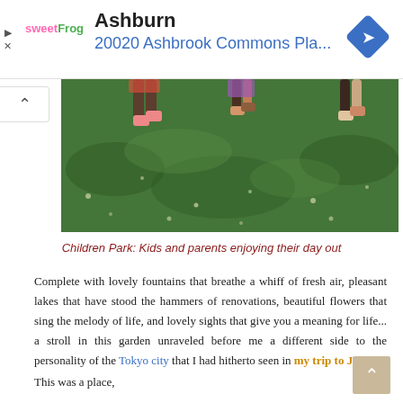[Figure (screenshot): Advertisement banner showing sweetFrog logo, 'Ashburn' city name, '20020 Ashbrook Commons Pla...' address in blue, navigation arrow diamond icon on right, play and close icons on left]
[Figure (photo): Children at a park standing on green grass, partially visible legs and feet, lush green lawn]
Children Park: Kids and parents enjoying their day out
Complete with lovely fountains that breathe a whiff of fresh air, pleasant lakes that have stood the hammers of renovations, beautiful flowers that sing the melody of life, and lovely sights that give you a meaning for life... a stroll in this garden unraveled before me a different side to the personality of the Tokyo city that I had hitherto seen in my trip to Japan...
This was a place,